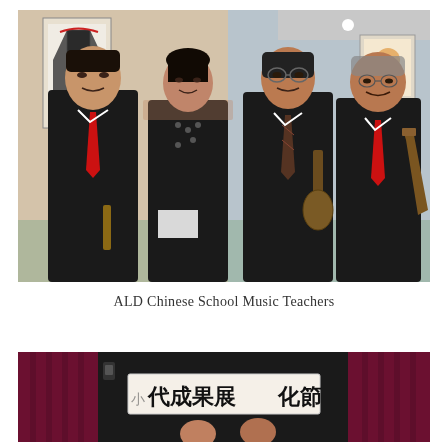[Figure (photo): Four musicians (ALD Chinese School Music Teachers) posing together in formal attire. From left: a young man in black suit with red tie holding a small instrument, a young woman in black sleeveless dress, a middle-aged man in black suit with patterned tie holding a stringed instrument, and an older man in black suit with red tie holding a woodwind instrument. Background shows an art gallery or lobby setting with artworks on the walls.]
ALD Chinese School Music Teachers
[Figure (photo): A performance or ceremony scene with dark background, burgundy/red curtain visible, and a banner with Chinese characters visible in the lower portion. Two or more people partially visible in the foreground.]